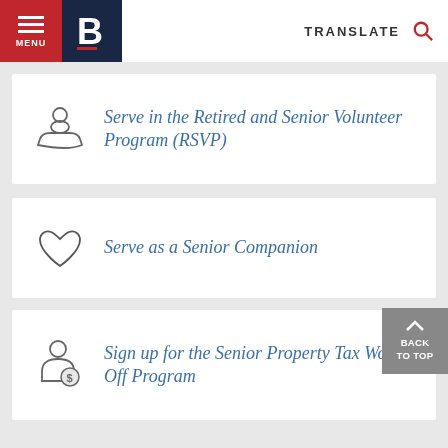[Figure (screenshot): Government website header with red hamburger menu/MENU button, dark navy B logo, TRANSLATE text, and search icon]
Serve in the Retired and Senior Volunteer Program (RSVP)
Serve as a Senior Companion
Sign up for the Senior Property Tax Work-Off Program